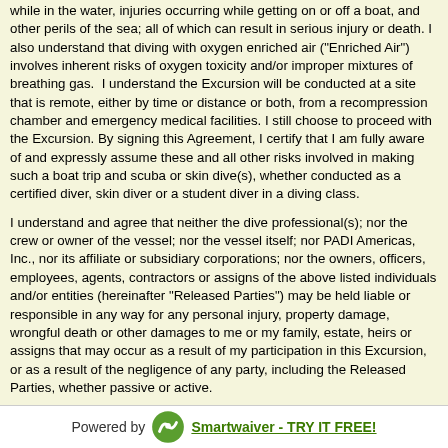while in the water, injuries occurring while getting on or off a boat, and other perils of the sea; all of which can result in serious injury or death. I also understand that diving with oxygen enriched air ("Enriched Air") involves inherent risks of oxygen toxicity and/or improper mixtures of breathing gas.  I understand the Excursion will be conducted at a site that is remote, either by time or distance or both, from a recompression chamber and emergency medical facilities. I still choose to proceed with the Excursion. By signing this Agreement, I certify that I am fully aware of and expressly assume these and all other risks involved in making such a boat trip and scuba or skin dive(s), whether conducted as a certified diver, skin diver or a student diver in a diving class.
I understand and agree that neither the dive professional(s); nor the crew or owner of the vessel; nor the vessel itself; nor PADI Americas, Inc., nor its affiliate or subsidiary corporations; nor the owners, officers, employees, agents, contractors or assigns of the above listed individuals and/or entities (hereinafter "Released Parties") may be held liable or responsible in any way for any personal injury, property damage, wrongful death or other damages to me or my family, estate, heirs or assigns that may occur as a result of my participation in this Excursion, or as a result of the negligence of any party, including the Released Parties, whether passive or active.
I affirm I am in good mental and physical fitness to scuba dive. I further state that I am not under the influence of alcohol or any drugs that are contradicted to diving. If I am taking medication, I affirm that I have seen a physician and have approval to dive while under the influence of the medication/drugs. I understand that skin and scuba diving are physically strenuous activities and that I will be exerting myself during this
Powered by Smartwaiver - TRY IT FREE!